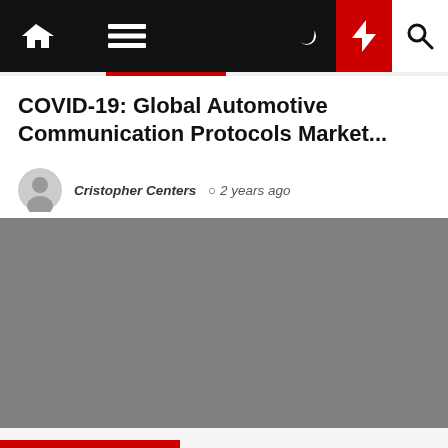Navigation bar with home, menu, moon, bolt, and search icons
COVID-19: Global Automotive Communication Protocols Market...
Cristopher Centers  2 years ago
[Figure (photo): Gray placeholder image for article thumbnail]